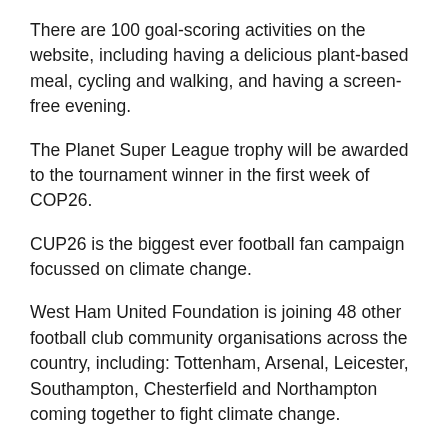There are 100 goal-scoring activities on the website, including having a delicious plant-based meal, cycling and walking, and having a screen-free evening.
The Planet Super League trophy will be awarded to the tournament winner in the first week of COP26.
CUP26 is the biggest ever football fan campaign focussed on climate change.
West Ham United Foundation is joining 48 other football club community organisations across the country, including: Tottenham, Arsenal, Leicester, Southampton, Chesterfield and Northampton coming together to fight climate change.
The tournament kicks off as the world builds up to COP26, with football clubs leveraging the passion of their fans, raising awareness, driving citizen climate action, and creating real momentum ahead of the